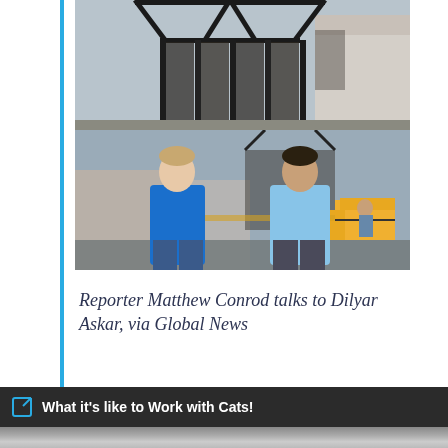[Figure (photo): Two-part photo: top shows a burned-out house with charred frame structure remaining; bottom shows a man in a blue hoodie (reporter Matthew Conrod) talking to a man in a light blue hoodie (Dilyar Askar) in front of the fire-damaged house with a fire truck visible in the background.]
Reporter Matthew Conrod talks to Dilyar Askar, via Global News
What it's like to Work with Cats!